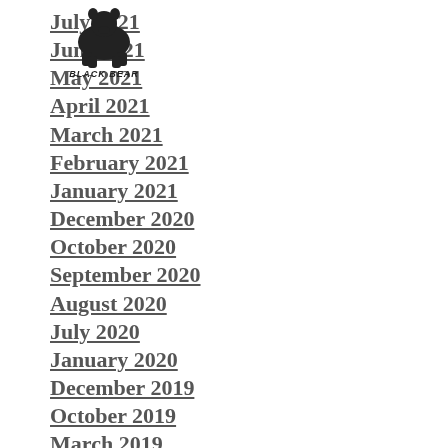[Figure (logo): Black Bear logo with bear silhouette image and BLACK BEAR text below]
July 2021
June 2021
May 2021
April 2021
March 2021
February 2021
January 2021
December 2020
October 2020
September 2020
August 2020
July 2020
January 2020
December 2019
October 2019
March 2019
August 2018
June 2018